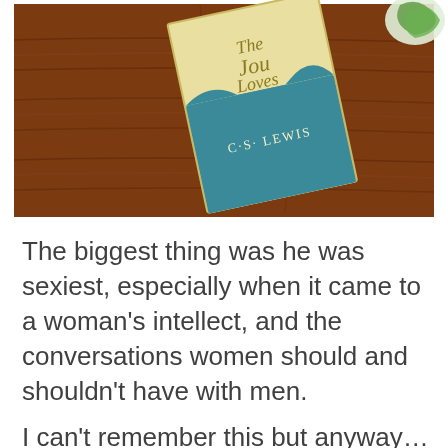[Figure (photo): A C.S. Lewis book titled 'The Four Loves' lying on a wooden table, partially visible with a plant in upper right corner.]
The biggest thing was he was sexiest, especially when it came to a woman's intellect, and the conversations women should and shouldn't have with men.
I can't remember this but anyway…